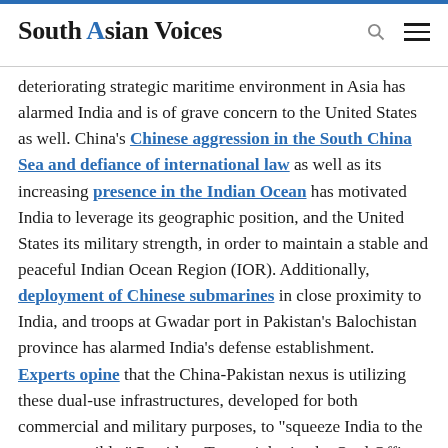South Asian Voices
deteriorating strategic maritime environment in Asia has alarmed India and is of grave concern to the United States as well. China's Chinese aggression in the South China Sea and defiance of international law as well as its increasing presence in the Indian Ocean has motivated India to leverage its geographic position, and the United States its military strength, in order to maintain a stable and peaceful Indian Ocean Region (IOR). Additionally, deployment of Chinese submarines in close proximity to India, and troops at Gwadar port in Pakistan's Balochistan province has alarmed India's defense establishment. Experts opine that the China-Pakistan nexus is utilizing these dual-use infrastructures, developed for both commercial and military purposes, to "squeeze India to the extent possible." President Trump inherits the Oval Office at a time when India and the United States have already taken